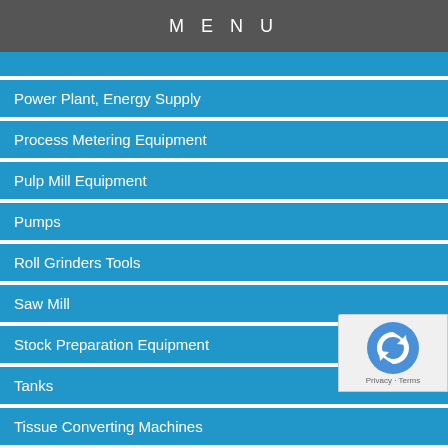MENU
(partial top item, clipped)
Power Plant, Energy Supply
Process Metering Equipment
Pulp Mill Equipment
Pumps
Roll Grinders Tools
Saw Mill
Stock Preparation Equipment
Tanks
Tissue Converting Machines
Tissue Machines